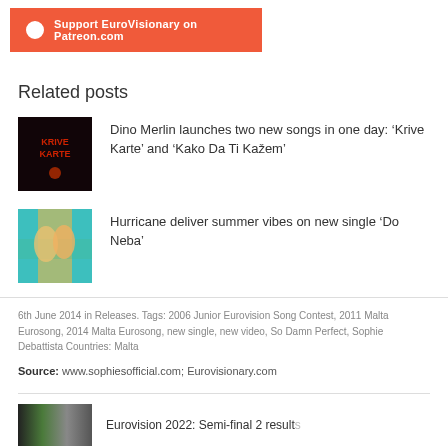[Figure (other): Patreon support banner with orange background and white text]
Related posts
[Figure (photo): Dark thumbnail image with red text KRIVE KARTE]
Dino Merlin launches two new songs in one day: ‘Krive Karte’ and ‘Kako Da Ti Kažem’
[Figure (photo): Colorful thumbnail of Hurricane group in bright outfits]
Hurricane deliver summer vibes on new single ‘Do Neba’
6th June 2014 in Releases. Tags: 2006 Junior Eurovision Song Contest, 2011 Malta Eurosong, 2014 Malta Eurosong, new single, new video, So Damn Perfect, Sophie Debattista Countries: Malta
Source: www.sophiesofficial.com; Eurovisionary.com
[Figure (photo): Strip of small thumbnail images at the bottom of the page]
Eurovision 2022: Semi-final 2 results